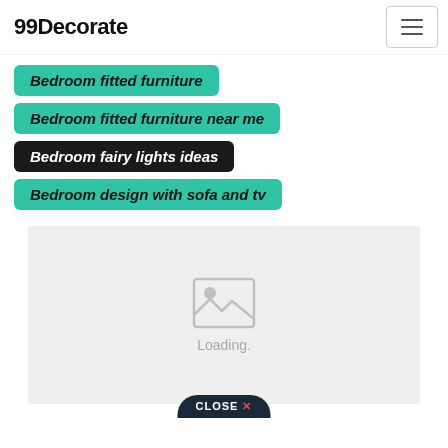99Decorate
Bedroom fitted furniture
Bedroom fitted furniture near me
Bedroom fairy lights ideas
Bedroom design with sofa and tv
[Figure (screenshot): Gray image placeholder box with a landscape/photo icon and 'Loading.' text. A dark 'CLOSE X' button partially visible at the bottom.]